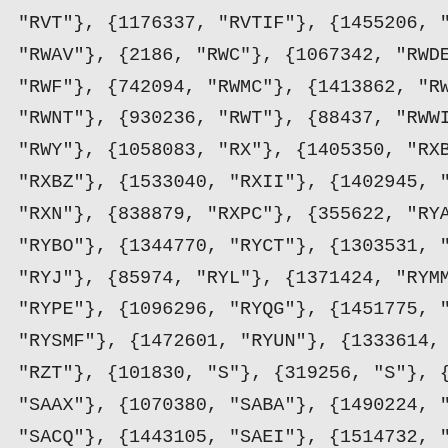"RVT"}, {1176337, "RVTIF"}, {1455206, "R
"RWAV"}, {2186, "RWC"}, {1067342, "RWDE"
"RWF"}, {742094, "RWMC"}, {1413862, "RWM
"RWNT"}, {930236, "RWT"}, {88437, "RWWI"
"RWY"}, {1058083, "RX"}, {1405350, "RXBD
"RXBZ"}, {1533040, "RXII"}, {1402945, "R
"RXN"}, {838879, "RXPC"}, {355622, "RYAN
"RYBO"}, {1344770, "RYCT"}, {1303531, "R
"RYJ"}, {85974, "RYL"}, {1371424, "RYMM"
"RYPE"}, {1096296, "RYQG"}, {1451775, "R
"RYSMF"}, {1472601, "RYUN"}, {1333614, "
"RZT"}, {101830, "S"}, {319256, "S"}, {1
"SAAX"}, {1070380, "SABA"}, {1490224, "S
"SACQ"}, {1443105, "SAEI"}, {1514732, "S
"SAF"}, {86104, "SAFC"}, {806168, "SAFE"
"SAFM"}, {921066, "SAFS"}, {1172052, "SA